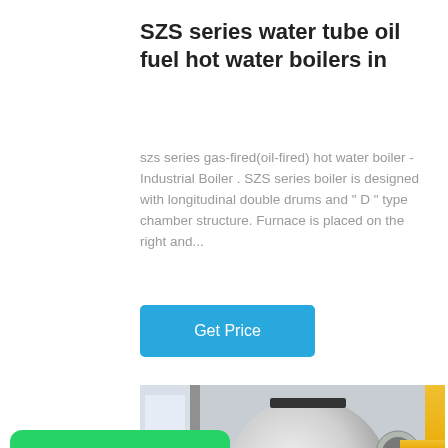SZS series water tube oil fuel hot water boilers in
szs series gas-fired(oil-fired) hot water boiler - Industrial Boiler . SZS series boiler is designed with longitudinal double drums and " D " type chamber structure. Furnace is placed on the right and...
Get Price
[Figure (photo): Industrial SZS series water tube hot water boiler in a factory setting, showing a large cylindrical white boiler with a red burner and yellow gas pipes]
[Figure (logo): WhatsApp badge with green background, WhatsApp icon and text 'WhatsApp']